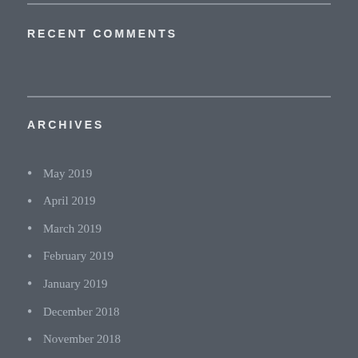RECENT COMMENTS
ARCHIVES
May 2019
April 2019
March 2019
February 2019
January 2019
December 2018
November 2018
October 2018
September 2018